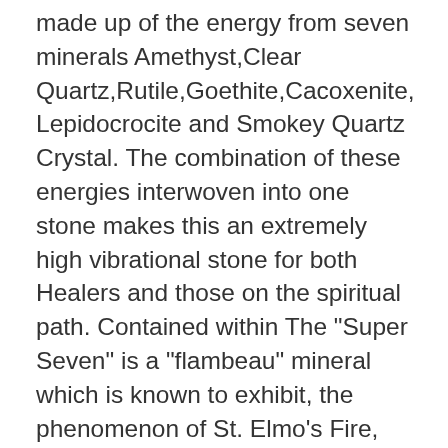made up of the energy from seven minerals Amethyst,Clear Quartz,Rutile,Goethite,Cacoxenite, Lepidocrocite and Smokey Quartz Crystal. The combination of these energies interwoven into one stone makes this an extremely high vibrational stone for both Healers and those on the spiritual path. Contained within The "Super Seven" is a "flambeau" mineral which is known to exhibit, the phenomenon of St. Elmo's Fire, and ethereal auric light reminiscent of the "holy light" which has been seen due to atmospheric electricity on church towers and treetops. It produces electromagnetic waves providing the self-luminous quality and assists one in "seeing" auras and in maintaining the connection between the